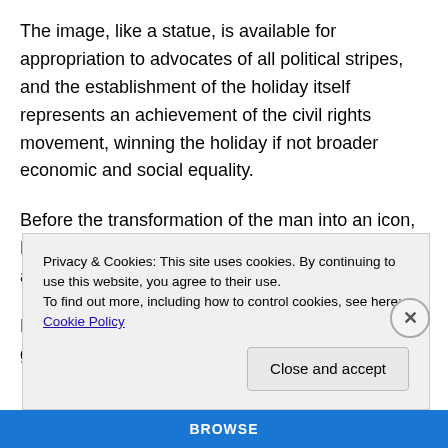The image, like a statue, is available for appropriation to advocates of all political stripes, and the establishment of the holiday itself represents an achievement of the civil rights movement, winning the holiday if not broader economic and social equality.
Before the transformation of the man into an icon, King transformed himself from a pastor into an activist, a peripatetic crusader for justice.
But the pastor didn't disappear; rather this role grew into
Privacy & Cookies: This site uses cookies. By continuing to use this website, you agree to their use.
To find out more, including how to control cookies, see here: Cookie Policy
Close and accept